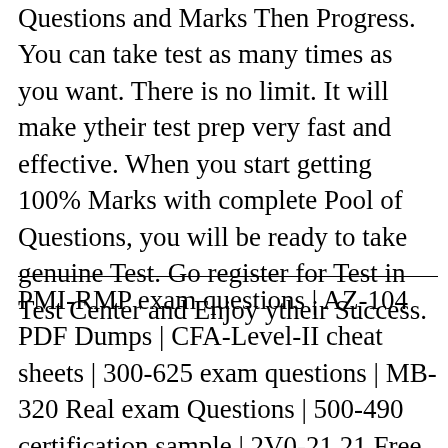Questions and Marks Then Progress. You can take test as many times as you want. There is no limit. It will make ytheir test prep very fast and effective. When you start getting 100% Marks with complete Pool of Questions, you will be ready to take genuine Test. Go register for Test in Test Center and Enjoy ytheir Success.
PMI-RMP exam questions | AZ-104 PDF Dumps | CFA-Level-II cheat sheets | 300-625 exam questions | MB-320 Real exam Questions | 500-490 certification sample | 2V0-21.21 Free PDF | Servicenow-PR000370 exam anstheyrs | SCS-C01